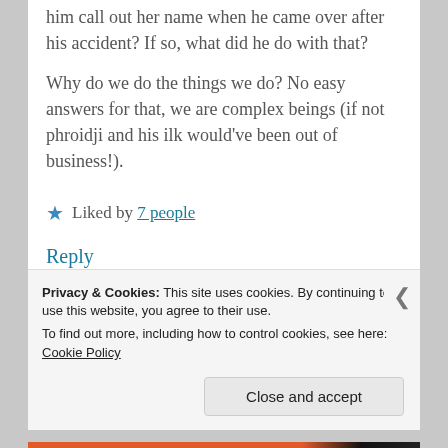him call out her name when he came over after his accident? If so, what did he do with that?
Why do we do the things we do? No easy answers for that, we are complex beings (if not phroidji and his ilk would've been out of business!).
★ Liked by 7 people
Reply
Privacy & Cookies: This site uses cookies. By continuing to use this website, you agree to their use.
To find out more, including how to control cookies, see here: Cookie Policy
Close and accept